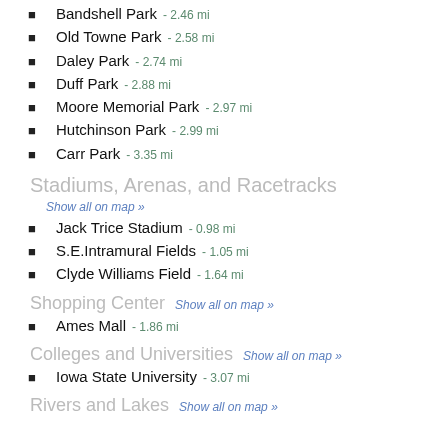Bandshell Park - 2.46 mi
Old Towne Park - 2.58 mi
Daley Park - 2.74 mi
Duff Park - 2.88 mi
Moore Memorial Park - 2.97 mi
Hutchinson Park - 2.99 mi
Carr Park - 3.35 mi
Stadiums, Arenas, and Racetracks
Show all on map »
Jack Trice Stadium - 0.98 mi
S.E.Intramural Fields - 1.05 mi
Clyde Williams Field - 1.64 mi
Shopping Center Show all on map »
Ames Mall - 1.86 mi
Colleges and Universities Show all on map »
Iowa State University - 3.07 mi
Rivers and Lakes Show all on map »